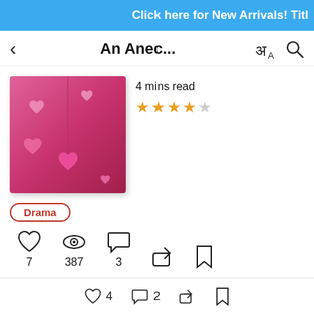Click here for New Arrivals! Titl
An Anec...
[Figure (illustration): Book cover with pink/magenta background and floating pink heart shapes]
4 mins read
★★★★☆ (4 out of 5 stars)
Drama (genre tag)
7 likes, 387 views, 3 comments, share, bookmark
4 likes, 2 comments, share, bookmark